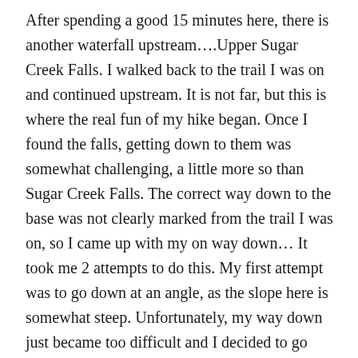After spending a good 15 minutes here, there is another waterfall upstream….Upper Sugar Creek Falls. I walked back to the trail I was on and continued upstream. It is not far, but this is where the real fun of my hike began. Once I found the falls, getting down to them was somewhat challenging, a little more so than Sugar Creek Falls. The correct way down to the base was not clearly marked from the trail I was on, so I came up with my on way down… It took me 2 attempts to do this. My first attempt was to go down at an angle, as the slope here is somewhat steep. Unfortunately, my way down just became too difficult and I decided to go back up and try another way. The second way wasn't much easier but it was safer…It involved some bushwacking, instead of maneuvering wet slippery steep rocks, and I was not to be denied after making it this far. Once there, it was beautiful. It was about the same size as Sugar Creek Falls, but quite different, with just a gorgeous, huge light green